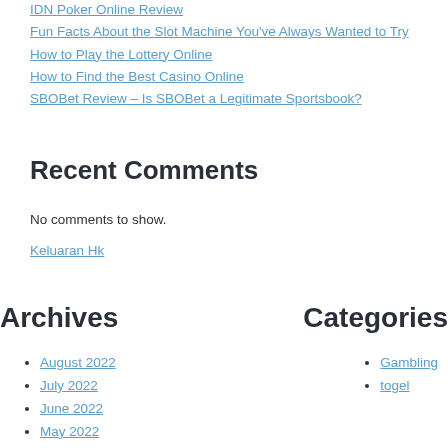IDN Poker Online Review
Fun Facts About the Slot Machine You've Always Wanted to Try
How to Play the Lottery Online
How to Find the Best Casino Online
SBOBet Review – Is SBOBet a Legitimate Sportsbook?
Recent Comments
No comments to show.
Keluaran Hk
Archives
Categories
August 2022
July 2022
June 2022
May 2022
Gambling
togel